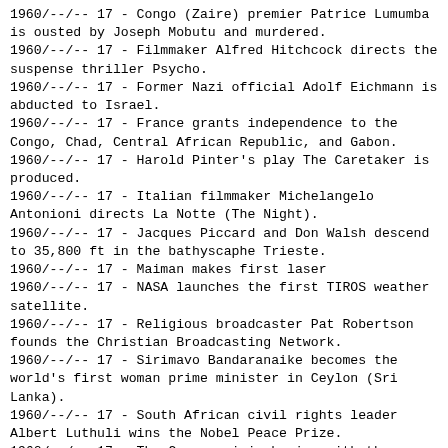1960/--/-- 17 - Congo (Zaire) premier Patrice Lumumba is ousted by Joseph Mobutu and murdered.
1960/--/-- 17 - Filmmaker Alfred Hitchcock directs the suspense thriller Psycho.
1960/--/-- 17 - Former Nazi official Adolf Eichmann is abducted to Israel.
1960/--/-- 17 - France grants independence to the Congo, Chad, Central African Republic, and Gabon.
1960/--/-- 17 - Harold Pinter's play The Caretaker is produced.
1960/--/-- 17 - Italian filmmaker Michelangelo Antonioni directs La Notte (The Night).
1960/--/-- 17 - Jacques Piccard and Don Walsh descend to 35,800 ft in the bathyscaphe Trieste.
1960/--/-- 17 - Maiman makes first laser
1960/--/-- 17 - NASA launches the first TIROS weather satellite.
1960/--/-- 17 - Religious broadcaster Pat Robertson founds the Christian Broadcasting Network.
1960/--/-- 17 - Sirimavo Bandaranaike becomes the world's first woman prime minister in Ceylon (Sri Lanka).
1960/--/-- 17 - South African civil rights leader Albert Luthuli wins the Nobel Peace Prize.
1960/--/-- 17 - The Congo crisis begins with the secession of Katanga province under Moise Tshombe.
1960/--/-- 17 - The Echo 1 experimental communications satellite is launched.
1960/--/-- 17 - The Motown record company is founded in Detroit by Berry Gordy.